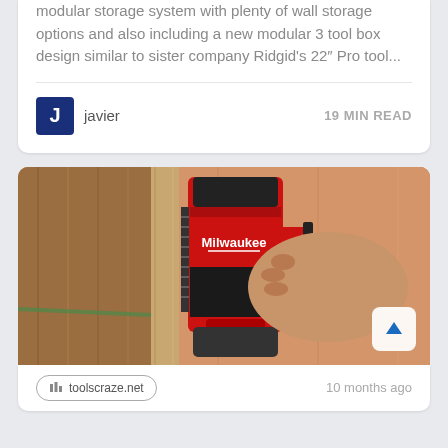modular storage system with plenty of wall storage options and also including a new modular 3 tool box design similar to sister company Ridgid's 22″ Pro tool...
javier   19 MIN READ
[Figure (photo): A person's hand holding a red Milwaukee cordless nail gun/staple gun against wooden framing studs]
toolscraze.net   10 months ago